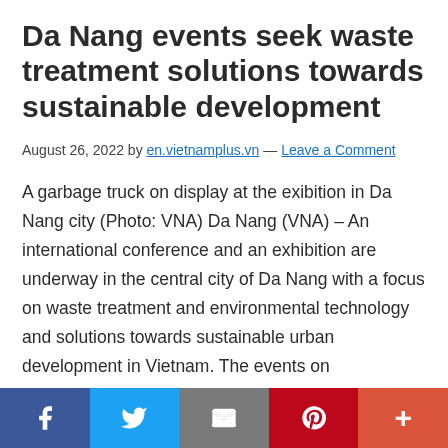Da Nang events seek waste treatment solutions towards sustainable development
August 26, 2022 by en.vietnamplus.vn — Leave a Comment
A garbage truck on display at the exibition in Da Nang city (Photo: VNA) Da Nang (VNA) – An international conference and an exhibition are underway in the central city of Da Nang with a focus on waste treatment and environmental technology and solutions towards sustainable urban development in Vietnam. The events on
[Figure (other): Social media sharing bar at bottom with Facebook, Twitter, Email, Pinterest, and More buttons]